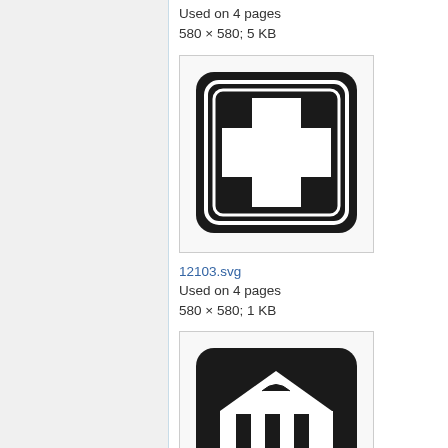Used on 4 pages
580 × 580; 5 KB
[Figure (illustration): Black rounded square icon with a white cross/plus sign (medical/first-aid symbol), framed with concentric square borders]
12103.svg
Used on 4 pages
580 × 580; 1 KB
[Figure (illustration): Black rounded square icon with a white classical building/bank/museum with columns (institution symbol)]
30025.svg